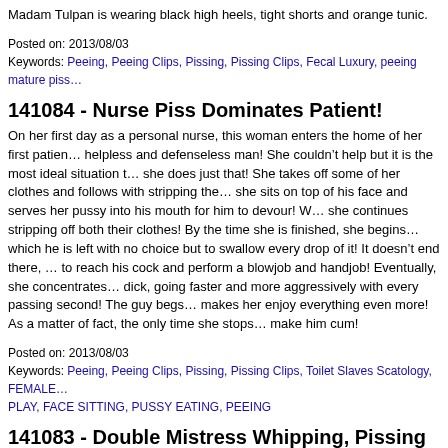Madam Tulpan is wearing black high heels, tight shorts and orange tunic.
Posted on: 2013/08/03
Keywords: Peeing, Peeing Clips, Pissing, Pissing Clips, Fecal Luxury, peeing mature piss...
141084 - Nurse Piss Dominates Patient!
On her first day as a personal nurse, this woman enters the home of her first patient, a helpless and defenseless man! She couldn't help but it is the most ideal situation to... she does just that! She takes off some of her clothes and follows with stripping the... she sits on top of his face and serves her pussy into his mouth for him to devour! W... she continues stripping off both their clothes! By the time she is finished, she begins... which he is left with no choice but to swallow every drop of it! It doesn't end there,... to reach his cock and perform a blowjob and handjob! Eventually, she concentrates... dick, going faster and more aggressively with every passing second! The guy begs... makes her enjoy everything even more! As a matter of fact, the only time she stops... make him cum!
Posted on: 2013/08/03
Keywords: Peeing, Peeing Clips, Pissing, Pissing Clips, Toilet Slaves Scatology, FEMALE... PLAY, FACE SITTING, PUSSY EATING, PEEING
141083 - Double Mistress Whipping, Pissing Punishment!
When these two women came home, what greets them is the sight of an unknown... burglar and they catch him red-handed! Unlike most who would panic and allow him... dominatrixes are different! Instead, they make sure to impose their punishment and... situation! They begin with grabbing him and stripping off most of his clothes before... After which, they throw him on his knees and then take turns ravaging him by riding... hair tightly! Before long, they start wanting more, in which they grab a bowl and take... is filled to the brim! By then, they order the slave to drink everything up to the very... which infuriates the ladies, causing them to submerge his face on it! He tries to get...